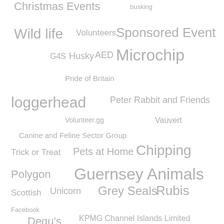[Figure (infographic): Word cloud featuring tags/terms related to GSPCA and Guernsey animal charity activities. Terms include: Christmas Events, busking, Wild life, Volunteers, Sponsored Event, G4S, Husky, AED, Microchip, Pride of Britain, loggerhead, Peter Rabbit and Friends, Volunteer.gg, Vauvert, Canine and Feline Sector Group, Trick or Treat, Pets at Home, Chipping, Polygon, Guernsey Animals, Scottish, Unicorn, Grey Seals, Rubis, Facebook, Degu's, KPMG Channel Islands Limited, Elf, Association of Dogs and Cats Homes, Guernsey Campaign, #InternationalDayoftheSeal, Covid19, Moores Hotel, GSPCA staff, Guernsey Freemasons, Fairfields, Thanks. Words are displayed in varying sizes in grey tones.]